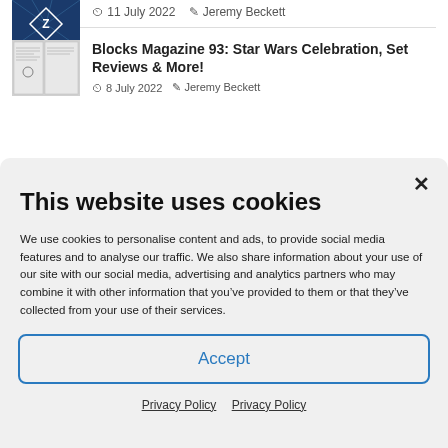11 July 2022  Jeremy Beckett
[Figure (photo): Thumbnail image with blue diamond/star logo on dark background]
Blocks Magazine 93: Star Wars Celebration, Set Reviews & More!
8 July 2022  Jeremy Beckett
[Figure (photo): Thumbnail image of Blocks Magazine 93 cover]
This website uses cookies
We use cookies to personalise content and ads, to provide social media features and to analyse our traffic. We also share information about your use of our site with our social media, advertising and analytics partners who may combine it with other information that you’ve provided to them or that they’ve collected from your use of their services.
Accept
Privacy Policy  Privacy Policy